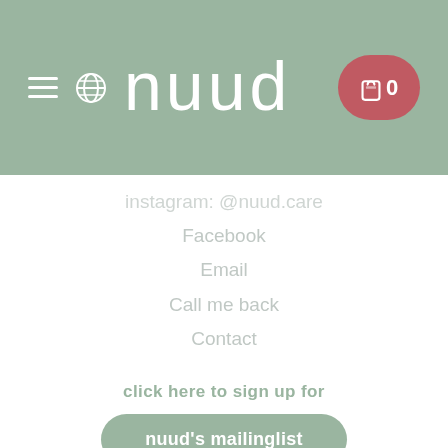nuud — navigation header with hamburger menu, globe icon, logo, and cart (0)
instagram: @nuud.care
Facebook
Email
Call me back
Contact
click here to sign up for
nuud's mailinglist
Info & help
FAQ
Contact